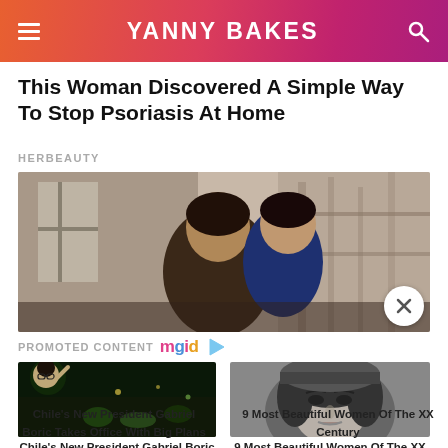YANNY BAKES
This Woman Discovered A Simple Way To Stop Psoriasis At Home
HERBEAUTY
[Figure (photo): A couple, man kissing woman on the cheek or forehead, outdoor background with bare trees and fence]
PROMOTED CONTENT mgid
[Figure (photo): Chile's new president Gabriel Boric celebrating with crowd at night]
Chile's New President Gabriel Boric Takes Office With Big Plans
[Figure (photo): Black and white portrait of a beautiful woman]
9 Most Beautiful Women Of The XX Century